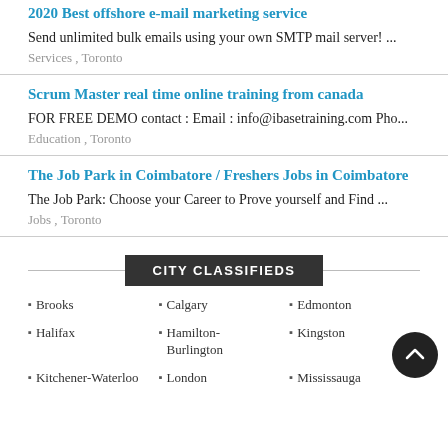2020 Best offshore e-mail marketing service
Send unlimited bulk emails using your own SMTP mail server! ...
Services , Toronto
Scrum Master real time online training from canada
FOR FREE DEMO contact : Email : info@ibasetraining.com Pho...
Education , Toronto
The Job Park in Coimbatore / Freshers Jobs in Coimbatore
The Job Park: Choose your Career to Prove yourself and Find ...
Jobs , Toronto
CITY CLASSIFIEDS
Brooks
Calgary
Edmonton
Halifax
Hamilton-Burlington
Kingston
Kitchener-Waterloo
London
Mississauga